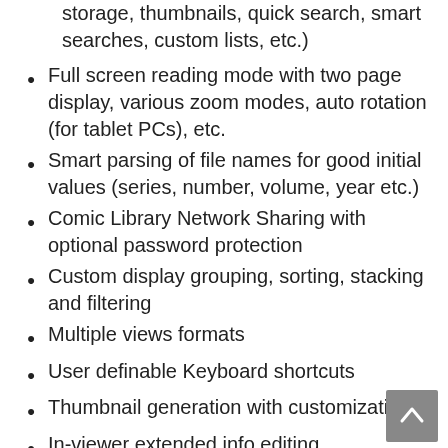storage, thumbnails, quick search, smart searches, custom lists, etc.)
Full screen reading mode with two page display, various zoom modes, auto rotation (for tablet PCs), etc.
Smart parsing of file names for good initial values (series, number, volume, year etc.)
Comic Library Network Sharing with optional password protection
Custom display grouping, sorting, stacking and filtering
Multiple views formats
User definable Keyboard shortcuts
Thumbnail generation with customization
In-viewer extended info editing
Batch conversion to cbz/pdf/cbt of all supported import formats